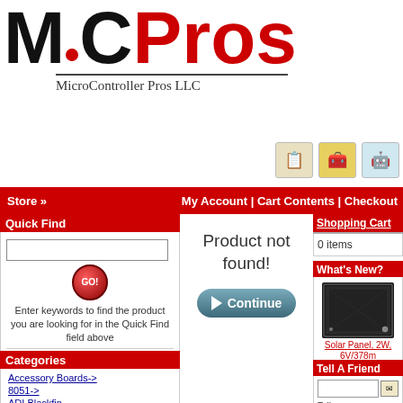[Figure (logo): MCPros logo with large MC in black, Pros in red, subtitle MicroController Pros LLC]
Store »   My Account  |  Cart Contents  |  Checkout
Quick Find
Enter keywords to find the product you are looking for in the Quick Find field above
or use
Advanced Search
Categories
Accessory Boards->
8051->
ADI Blackfin
Arduino->
ARM->
Atmel AVR->
Cypress PSoC
Freescale->
Product not found!
Shopping Cart
0 items
What's New?
[Figure (photo): Small black solar panel product photo]
Solar Panel, 2W, 6V/378m 3.5x1.1mm Barrel, 5.5x2.1 Adapter
US$19.00
Tell A Friend
Tell someone you know about this product.